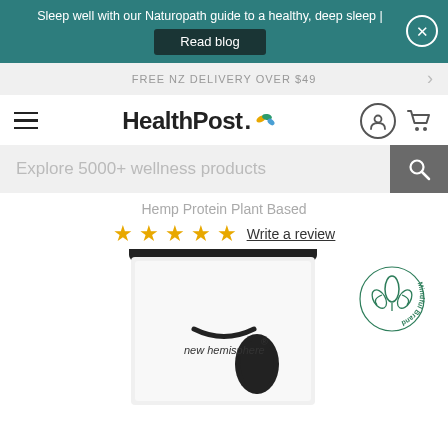Sleep well with our Naturopath guide to a healthy, deep sleep | Read blog
FREE NZ DELIVERY OVER $49
[Figure (logo): HealthPost logo with colorful leaf/dot motif]
Explore 5000+ wellness products
Hemp Protein Plant Based
☆☆☆☆☆ Write a review
[Figure (photo): New Hemisphere hemp protein product bag - dark pouch with brand logo]
[Figure (logo): Mindful Brand circular badge logo in green]